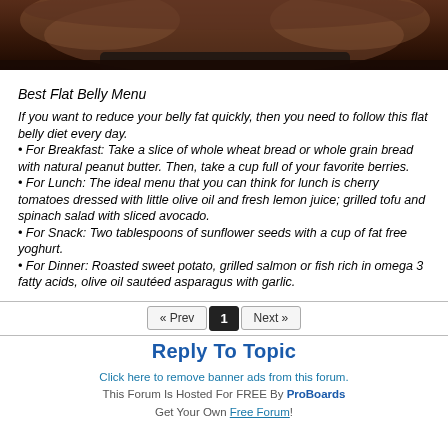[Figure (photo): Cropped photo showing a person's midsection/belly area with hands, dark background]
Best Flat Belly Menu
If you want to reduce your belly fat quickly, then you need to follow this flat belly diet every day.
• For Breakfast: Take a slice of whole wheat bread or whole grain bread with natural peanut butter. Then, take a cup full of your favorite berries.
• For Lunch: The ideal menu that you can think for lunch is cherry tomatoes dressed with little olive oil and fresh lemon juice; grilled tofu and spinach salad with sliced avocado.
• For Snack: Two tablespoons of sunflower seeds with a cup of fat free yoghurt.
• For Dinner: Roasted sweet potato, grilled salmon or fish rich in omega 3 fatty acids, olive oil sautéed asparagus with garlic.
« Prev  1  Next »
Reply To Topic
Click here to remove banner ads from this forum.
This Forum Is Hosted For FREE By ProBoards
Get Your Own Free Forum!